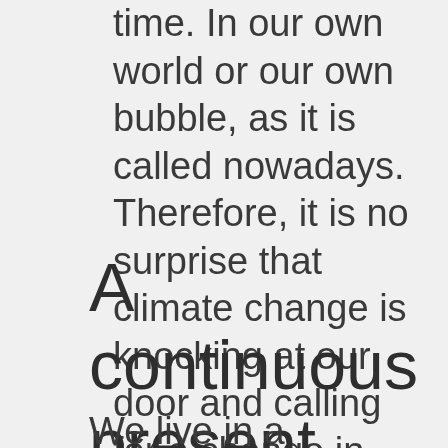time. In our own world or our own bubble, as it is called nowadays. Therefore, it is no surprise that climate change is knocking at our door and calling for a change in our way of making a living.
A continuous present
We live in a continuous present. We are no longer connected to multiple